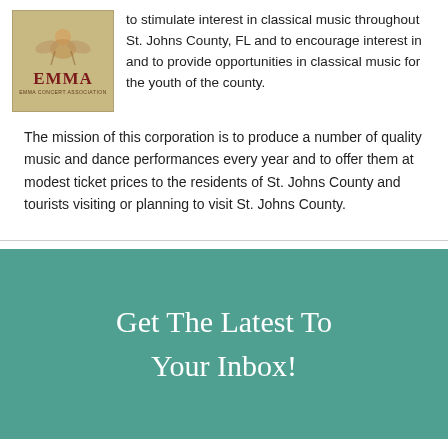[Figure (logo): EMMA Concert Association logo: beige/tan background with an angel figure at top and 'EMMA' in bold dark red lettering, with 'EMMA CONCERT ASSOCIATION' in small text below]
to stimulate interest in classical music throughout St. Johns County, FL and to encourage interest in and to provide opportunities in classical music for the youth of the county.
The mission of this corporation is to produce a number of quality music and dance performances every year and to offer them at modest ticket prices to the residents of St. Johns County and tourists visiting or planning to visit St. Johns County.
Get The Latest To Your Inbox!